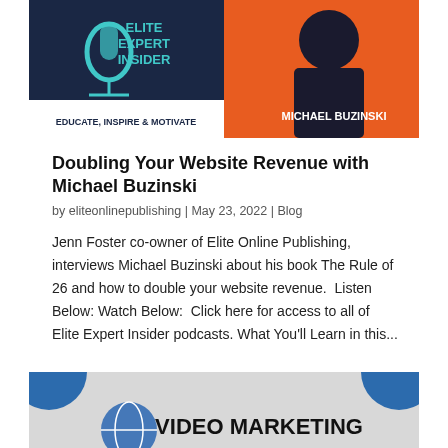[Figure (photo): Elite Expert Insider podcast banner split image: left side shows microphone logo with text 'ELITE EXPERT INSIDER' and 'EDUCATE, INSPIRE & MOTIVATE', right side shows man with beard on orange background with text 'MICHAEL BUZINSKI']
Doubling Your Website Revenue with Michael Buzinski
by eliteonlinepublishing | May 23, 2022 | Blog
Jenn Foster co-owner of Elite Online Publishing, interviews Michael Buzinski about his book The Rule of 26 and how to double your website revenue.  Listen Below: Watch Below:  Click here for access to all of Elite Expert Insider podcasts. What You'll Learn in this...
[Figure (photo): Partial view of a 'Video Marketing' themed image with blue circular accents on grey background and a globe graphic, text reads 'VIDEO MARKETING']